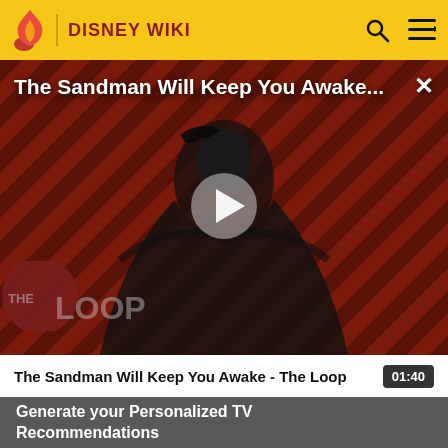DISNEY WIKI
[Figure (screenshot): Video thumbnail for 'The Sandman Will Keep You Awake - The Loop' showing a dark-cloaked figure with a raven against a diagonal red and dark striped background. A play button is centered. 'THE LOOP' logo appears at bottom left. Title text overlaid at top.]
The Sandman Will Keep You Awake...
The Sandman Will Keep You Awake - The Loop
01:40
Generate your Personalized TV Recommendations